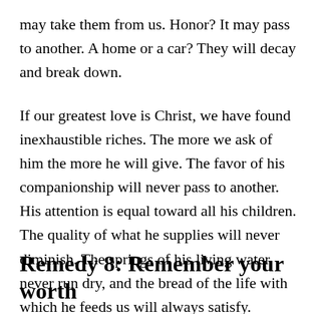may take them from us. Honor? It may pass to another. A home or a car? They will decay and break down.
If our greatest love is Christ, we have found inexhaustible riches. The more we ask of him the more he will give. The favor of his companionship will never pass to another. His attention is equal toward all his children. The quality of what he supplies will never diminish. The springs of his living water never run dry, and the bread of the life with which he feeds us will always satisfy.
Remedy 8: Remember your worth